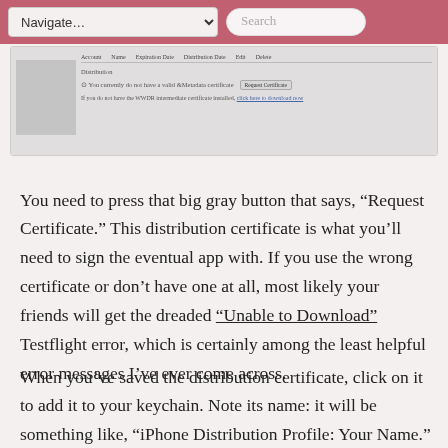Navigate… Search
[Figure (screenshot): Screenshot of a web interface showing a certificate request panel with 'Request Certificate' button and a notice about WWDR intermediate certificate.]
You need to press that big gray button that says, “Request Certificate.” This distribution certificate is what you’ll need to sign the eventual app with. If you use the wrong certificate or don’t have one at all, most likely your friends will get the dreaded “Unable to Download” Testflight error, which is certainly among the least helpful error messages I’ve ever come across.
When you’ve saved the distribution certificate, click on it to add it to your keychain. Note its name: it will be something like, “iPhone Distribution Profile: Your Name.” Make sure you remember the name of this certificate, as